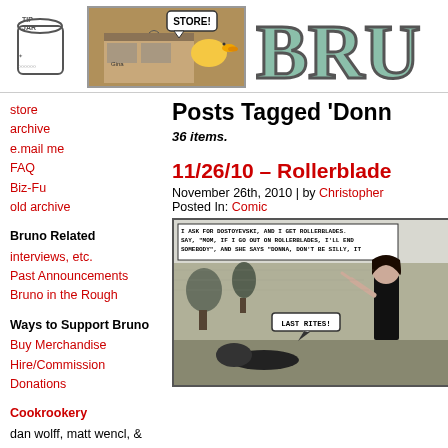[Figure (illustration): Tip jar hand-drawn logo]
[Figure (illustration): Store banner comic image with duck saying STORE!]
[Figure (logo): Bruno website logo showing BRU in large teal block letters]
store
archive
e.mail me
FAQ
Biz-Fu
old archive
Bruno Related
interviews, etc.
Past Announcements
Bruno in the Rough
Ways to Support Bruno
Buy Merchandise
Hire/Commission
Donations
Cookrookery
dan wolff, matt wencl, & me
Wild Life
written by dan wolff
Water Street
Sketchblog
Little Dee (m-sa)
Posts Tagged 'Donn
36 items.
11/26/10 – Rollerblade
November 26th, 2010 | by Christopher
Posted In: Comic
[Figure (illustration): Comic panel showing a character in black and white art, with text 'I ASK FOR DOSTOYEVSKI, AND I GET ROLLERBLADES. SAY, MOM, IF I GO OUT ON ROLLERBLADES, I'LL END SOMEBODY', AND SHE SAYS 'DONNA, DON'T BE SILLY, IT' and a speech bubble saying 'LAST RITES!']